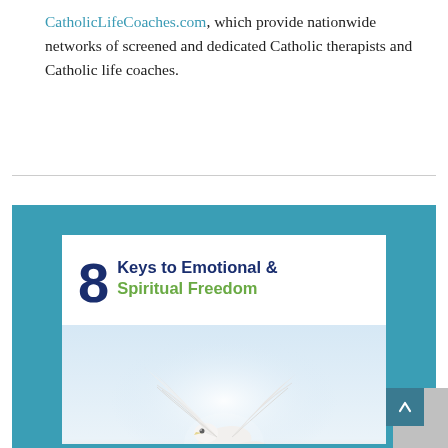CatholicLifeCoaches.com, which provide nationwide networks of screened and dedicated Catholic therapists and Catholic life coaches.
[Figure (illustration): Book cover image showing '8 Keys to Emotional & Spiritual Freedom' with a white dove flying above two cupped hands, set against a teal background panel.]